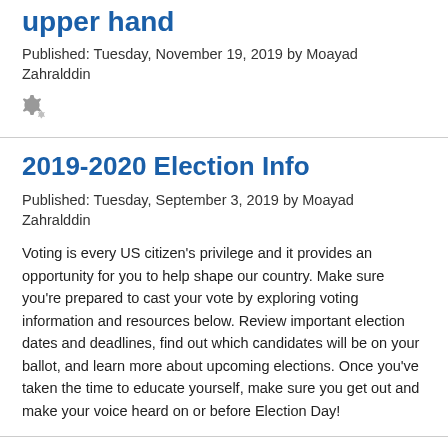upper hand
Published: Tuesday, November 19, 2019 by Moayad Zahralddin
[Figure (other): Gear/settings icon]
2019-2020 Election Info
Published: Tuesday, September 3, 2019 by Moayad Zahralddin
Voting is every US citizen’s privilege and it provides an opportunity for you to help shape our country. Make sure you’re prepared to cast your vote by exploring voting information and resources below. Review important election dates and deadlines, find out which candidates will be on your ballot, and learn more about upcoming elections. Once you’ve taken the time to educate yourself, make sure you get out and make your voice heard on or before Election Day!